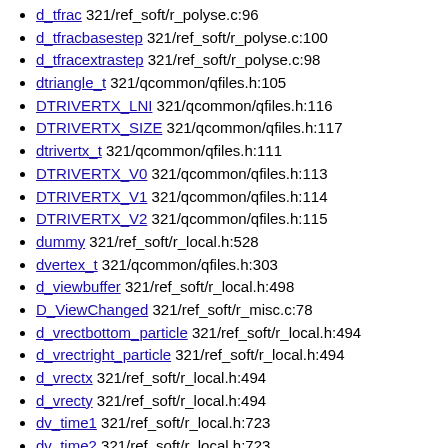d_tfrac 321/ref_soft/r_polyse.c:96
d_tfracbasestep 321/ref_soft/r_polyse.c:100
d_tfracextrastep 321/ref_soft/r_polyse.c:98
dtriangle_t 321/qcommon/qfiles.h:105
DTRIVERTX_LNI 321/qcommon/qfiles.h:116
DTRIVERTX_SIZE 321/qcommon/qfiles.h:117
dtrivertx_t 321/qcommon/qfiles.h:111
DTRIVERTX_V0 321/qcommon/qfiles.h:113
DTRIVERTX_V1 321/qcommon/qfiles.h:114
DTRIVERTX_V2 321/qcommon/qfiles.h:115
dummy 321/ref_soft/r_local.h:528
dvertex_t 321/qcommon/qfiles.h:303
d_viewbuffer 321/ref_soft/r_local.h:498
D_ViewChanged 321/ref_soft/r_misc.c:78
d_vrectbottom_particle 321/ref_soft/r_local.h:494
d_vrectright_particle 321/ref_soft/r_local.h:494
d_vrectx 321/ref_soft/r_local.h:494
d_vrecty 321/ref_soft/r_local.h:494
dv_time1 321/ref_soft/r_local.h:723
dv_time2 321/ref_soft/r_local.h:723
D_WarpScreen 321/ref_soft/r_scan.c:42
dwAxisMap 321/win32/in_win.c:50
dwControlMap 321/win32/in_win.c:51
dword 321/ref_soft/qasm.inc:254
d_xdenom 321/ref_soft/r_polyse.c:66